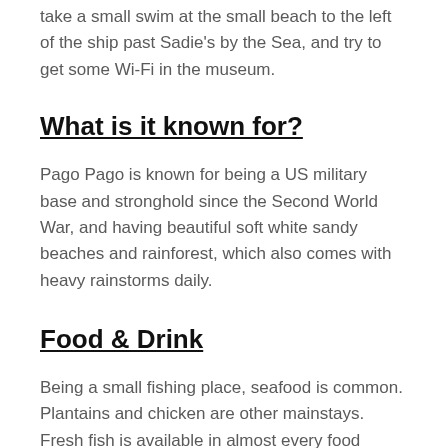take a small swim at the small beach to the left of the ship past Sadie's by the Sea, and try to get some Wi-Fi in the museum.
What is it known for?
Pago Pago is known for being a US military base and stronghold since the Second World War, and having beautiful soft white sandy beaches and rainforest, which also comes with heavy rainstorms daily.
Food & Drink
Being a small fishing place, seafood is common. Plantains and chicken are other mainstays. Fresh fish is available in almost every food outlet, and chickens